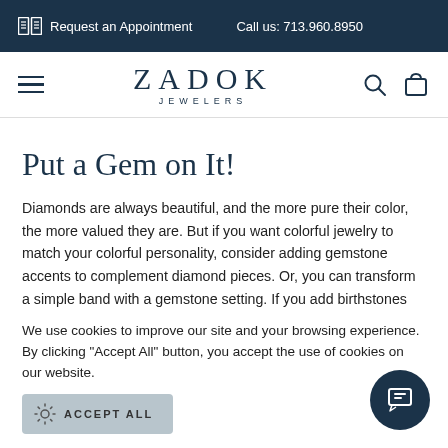Request an Appointment   Call us: 713.960.8950
[Figure (logo): Zadok Jewelers logo with hamburger menu, search and cart icons]
Put a Gem on It!
Diamonds are always beautiful, and the more pure their color, the more valued they are. But if you want colorful jewelry to match your colorful personality, consider adding gemstone accents to complement diamond pieces. Or, you can transform a simple band with a gemstone setting. If you add birthstones that represent your new baby, for example, you can completely
We use cookies to improve our site and your browsing experience. By clicking "Accept All" button, you accept the use of cookies on our website.